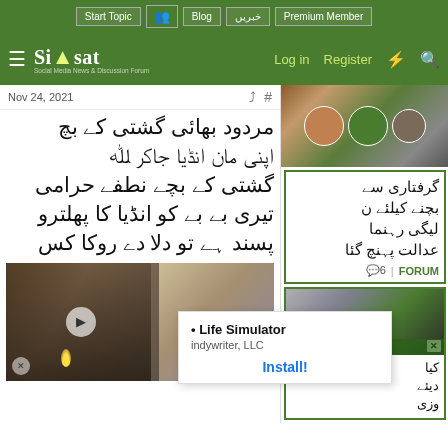Start Topic | Blog | خبریں | Premium Member
Siasat — Log in  Register
Nov 24, 2021
مردود بھائی گشتی کے بچے اپنی مان انڈیا جاکر گشتی کے بچے نطفے حرامی تیری بے بے کو انڈیا کا پھلتر پسند ہے تو دلا دے روکا کس
[Figure (photo): Outdoor gathering with people holding candles, and a portrait/sketch of a woman]
[Figure (photo): Right column top: group of politicians/men in a collage photo]
گرفتاری سے بچنے کیلئے ن لیگی رہنما عدالت پہنچ گئا
6 | FORUM
[Figure (photo): Right column second card: group photo with X (Twitter) badge overlay]
کیا دیئے وزی
Life Simulator
indywriter, LLC
Install!